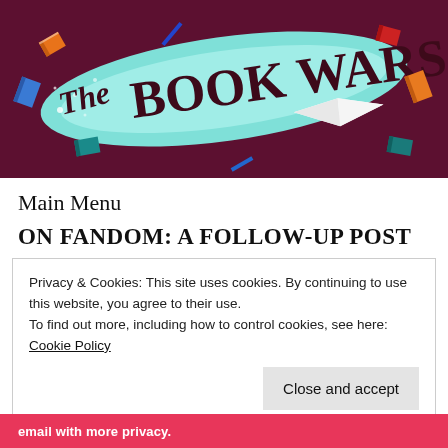[Figure (illustration): The Book Wars blog header banner — dark magenta/maroon background with illustrated books flying around a swirling teal ribbon shape on which 'The Book Wars' is written in dark cursive lettering.]
Main Menu
ON FANDOM: A FOLLOW-UP POST
Privacy & Cookies: This site uses cookies. By continuing to use this website, you agree to their use.
To find out more, including how to control cookies, see here:
Cookie Policy
Close and accept
email with more privacy.